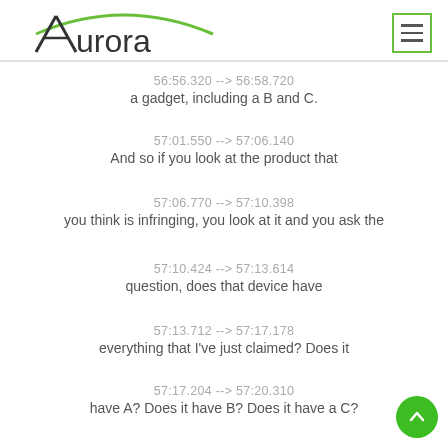Aurora
56:56.320 --> 56:58.720
a gadget, including a B and C.
57:01.550 --> 57:06.140
And so if you look at the product that
57:06.770 --> 57:10.398
you think is infringing, you look at it and you ask the
57:10.424 --> 57:13.614
question, does that device have
57:13.712 --> 57:17.178
everything that I've just claimed? Does it
57:17.204 --> 57:20.310
have A? Does it have B? Does it have a C?